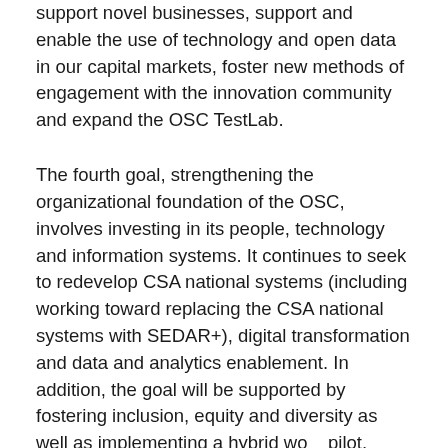support novel businesses, support and enable the use of technology and open data in our capital markets, foster new methods of engagement with the innovation community and expand the OSC TestLab.
The fourth goal, strengthening the organizational foundation of the OSC, involves investing in its people, technology and information systems. It continues to seek to redevelop CSA national systems (including working toward replacing the CSA national systems with SEDAR+), digital transformation and data and analytics enablement. In addition, the goal will be supported by fostering inclusion, equity and diversity as well as implementing a hybrid work pilot.